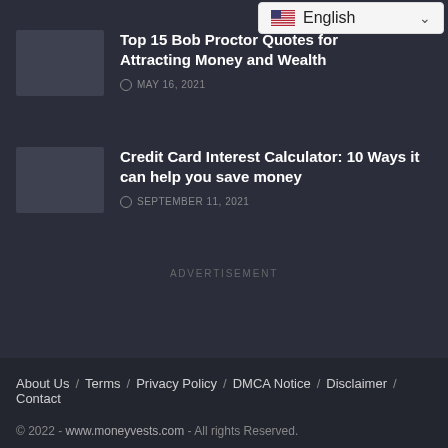[Figure (screenshot): Language selector bar showing English with US flag and dropdown arrow]
Top 15 Bob Proctor Quotes for Attracting Money and Wealth — MAY 16, 2021
Credit Card Interest Calculator: 10 Ways it can help you save money — SEPTEMBER 11, 2021
ADVERTISEMENT
About Us / Terms / Privacy Policy / DMCA Notice / Disclaimer / Contact
© 2022 - www.moneyvests.com - All rights Reserved.